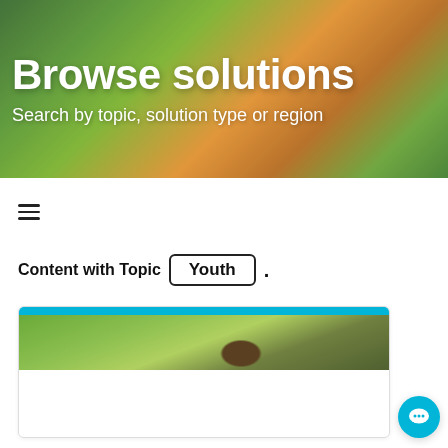[Figure (photo): Hero banner with green plants, vegetables and herbs background showing a person harvesting]
Browse solutions
Search by topic, solution type or region
[Figure (illustration): Hamburger menu icon (three horizontal lines)]
Content with Topic Youth .
[Figure (screenshot): Card with cyan top bar and image of green plants/landscape]